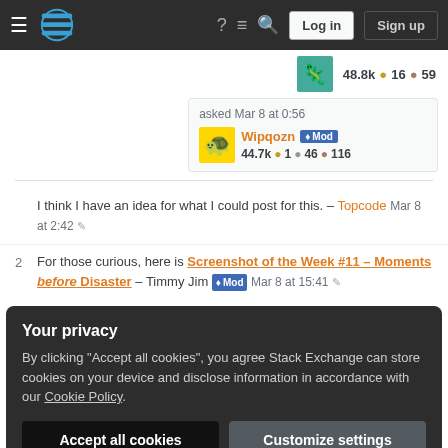Stack Exchange navigation bar with Log in and Sign up buttons
48.8k ◆16 ●59
asked Mar 8 at 0:56
Wipqozn ♦ Mod
44.7k ◆1 ◆46 ●116
I think I have an idea for what I could post for this. – Topcode Mar 8 at 2:42 ✎
2 For those curious, here is Screenshot of the Week #11 - Moments before Disaster – Timmy Jim ♦ Mod Mar 8 at 15:41 ✎
Your privacy
By clicking "Accept all cookies", you agree Stack Exchange can store cookies on your device and disclose information in accordance with our Cookie Policy.
Accept all cookies  Customize settings
– Fabian Röling Mar 8 at 22:40